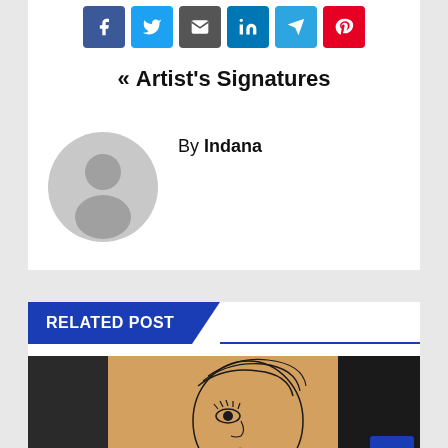[Figure (infographic): Row of six social share buttons: Facebook (blue), Twitter (light blue), Email (dark gray), LinkedIn (blue), Telegram (sky blue), Pinterest (red)]
« Artist's Signatures
[Figure (photo): Gray placeholder avatar icon (silhouette of a person on light gray circle background)]
By Indana
RELATED POST
[Figure (photo): Photo showing a tattoo artwork of a woman's face with stylized hair and dramatic makeup, warm amber/orange tones on right side, dark background on right]
PHOTOGRAPHY